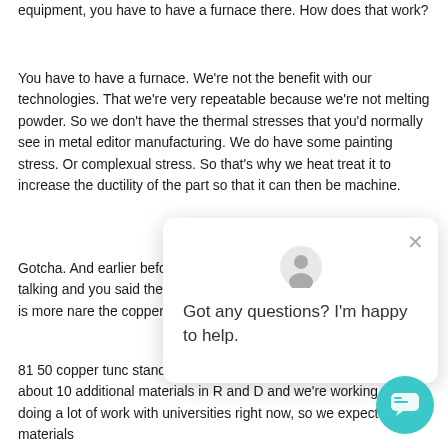equipment, you have to have a furnace there. How does that work?
You have to have a furnace. We're not the benefit with our technologies. That we're very repeatable because we're not melting powder. So we don't have the thermal stresses that you'd normally see in metal editor manufacturing. We do have some painting stress. Or complexual stress. So that's why we heat treat it to increase the ductility of the part so that it can then be machine.
Gotcha. And earlier before we started. Recording you and I were talking and you said there's even more materials in a b... there, there is more n... are the copper. Alum... aluminum bronze an... done brass.
81 50 copper tunc standing copper coated Chrome. We've got about 10 additional materials in R and D and we're working, we're doing a lot of work with universities right now, so we expect. The materials